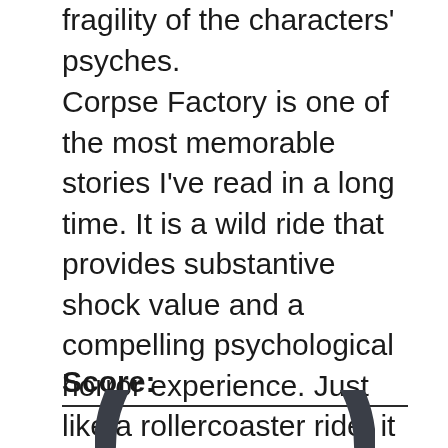fragility of the characters' psyches.
Corpse Factory is one of the most memorable stories I've read in a long time. It is a wild ride that provides substantive shock value and a compelling psychological horror experience. Just like a rollercoaster ride, it has plenty of downs, but those get outweighed by the thrills throughout. With true finesse, Corpse Factory winds us down the path of delusion in a fun and lively manner.
Score:
[Figure (other): Partial gauge/dial chart arc visible at bottom of page, dark grey semicircle arc]